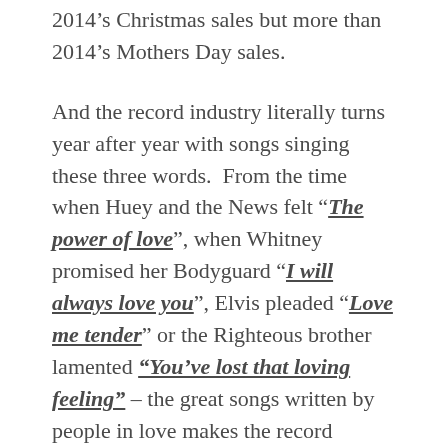2014's Christmas sales but more than 2014's Mothers Day sales.
And the record industry literally turns year after year with songs singing these three words.  From the time when Huey and the News felt “The power of love”, when Whitney promised her Bodyguard “I will always love you”, Elvis pleaded “Love me tender” or the Righteous brother lamented “You’ve lost that loving feeling” – the great songs written by people in love makes the record companies very rich.  But I wish more people spent some time to wonder